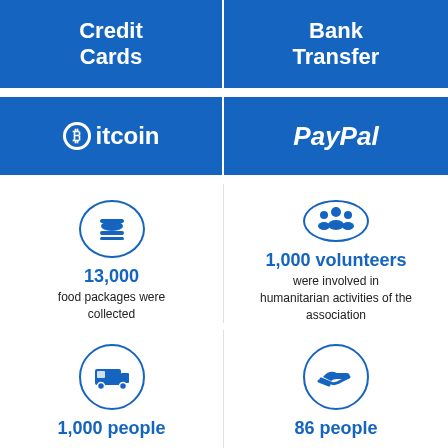Credit Cards
Bank Transfer
[Figure (infographic): Bitcoin logo with circle-B icon and text 'Bitcoin']
[Figure (infographic): PayPal text in italic white on blue background]
[Figure (infographic): Burger/food icon in blue circle. 13,000 food packages were collected]
[Figure (infographic): Group of people icon in blue circle. 1,000 volunteers were involved in humanitarian activities of the association]
[Figure (infographic): Caravan/trailer icon in blue circle. 1,000 people]
[Figure (infographic): Handshake/giving icon in blue circle. 86 people]